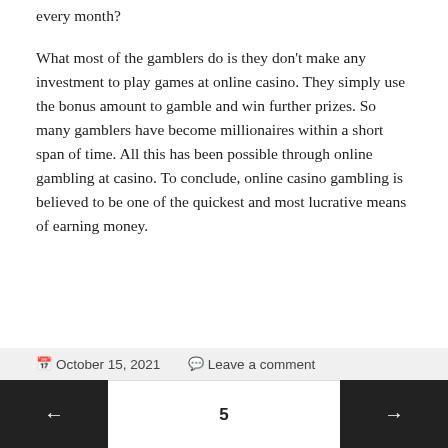every month?
What most of the gamblers do is they don't make any investment to play games at online casino. They simply use the bonus amount to gamble and win further prizes. So many gamblers have become millionaires within a short span of time. All this has been possible through online gambling at casino. To conclude, online casino gambling is believed to be one of the quickest and most lucrative means of earning money.
October 15, 2021  Leave a comment
← 5 →